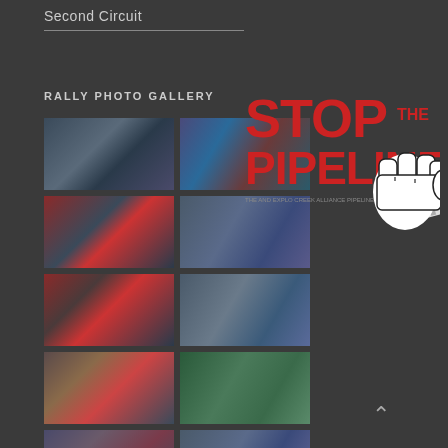Second Circuit
RALLY PHOTO GALLERY
[Figure (photo): Grid of 10 rally protest photos showing demonstrators with signs and banners related to stopping a pipeline]
[Figure (logo): Stop the Pipeline logo featuring red bold text 'STOP THE PIPELINE' with a fist gripping a pipeline and tagline text]